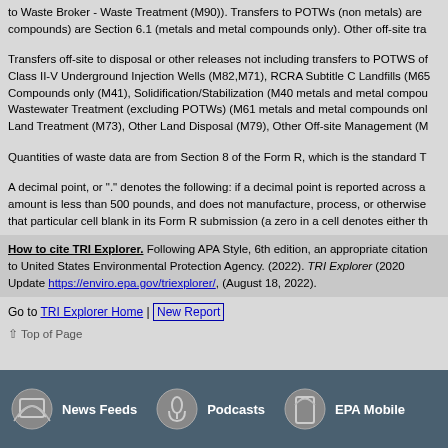to Waste Broker - Waste Treatment (M90)). Transfers to POTWs (non metals) are compounds) are Section 6.1 (metals and metal compounds only). Other off-site tra
Transfers off-site to disposal or other releases not including transfers to POTWS of Class II-V Underground Injection Wells (M82,M71), RCRA Subtitle C Landfills (M65 Compounds only (M41), Solidification/Stabilization (M40 metals and metal compou Wastewater Treatment (excluding POTWs) (M61 metals and metal compounds onl Land Treatment (M73), Other Land Disposal (M79), Other Off-site Management (M
Quantities of waste data are from Section 8 of the Form R, which is the standard T
A decimal point, or "." denotes the following: if a decimal point is reported across a amount is less than 500 pounds, and does not manufacture, process, or otherwise that particular cell blank in its Form R submission (a zero in a cell denotes either th
How to cite TRI Explorer. Following APA Style, 6th edition, an appropriate citation to United States Environmental Protection Agency. (2022). TRI Explorer (2020 Update https://enviro.epa.gov/triexplorer/, (August 18, 2022).
Go to TRI Explorer Home | New Report
Top of Page
[Figure (infographic): EPA website footer bar with icons for News Feeds, Podcasts, and EPA Mobile on dark teal background]